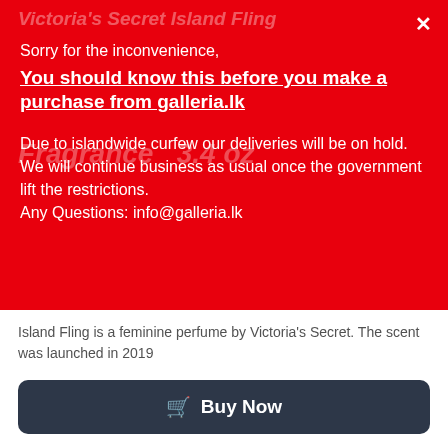Sorry for the inconvenience,
You should know this before you make a purchase from galleria.lk
Due to islandwide curfew our deliveries will be on hold. We will continue business as usual once the government lift the restrictions.
Any Questions: info@galleria.lk
Island Fling is a feminine perfume by Victoria’s Secret. The scent was launched in 2019
Rs.3,999.00
Buy Now